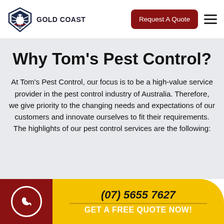[Figure (logo): Tom's Pest Control Gold Coast logo with shield/bug icon and company name]
Why Tom’s Pest Control?
At Tom’s Pest Control, our focus is to be a high-value service provider in the pest control industry of Australia. Therefore, we give priority to the changing needs and expectations of our customers and innovate ourselves to fit their requirements. The highlights of our pest control services are the following:
(07) 5655 7627 | GET A FREE QUOTE NOW!